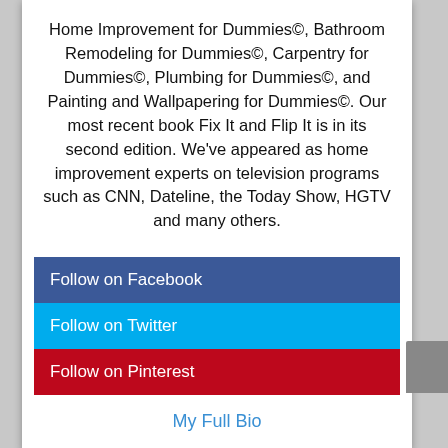Home Improvement for Dummies©, Bathroom Remodeling for Dummies©, Carpentry for Dummies©, Plumbing for Dummies©, and Painting and Wallpapering for Dummies©. Our most recent book Fix It and Flip It is in its second edition. We've appeared as home improvement experts on television programs such as CNN, Dateline, the Today Show, HGTV and many others.
Follow on Facebook
Follow on Twitter
Follow on Pinterest
My Full Bio